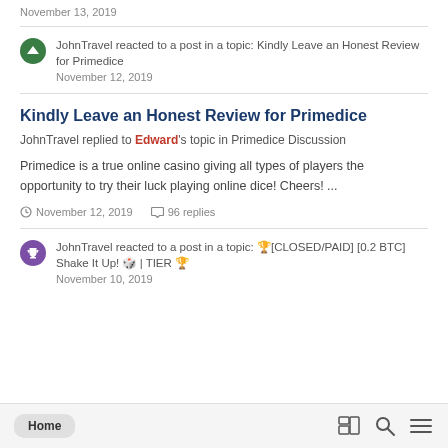November 13, 2019
JohnTravel reacted to a post in a topic: Kindly Leave an Honest Review for Primedice
November 12, 2019
Kindly Leave an Honest Review for Primedice
JohnTravel replied to Edward's topic in Primedice Discussion
Primedice is a true online casino giving all types of players the opportunity to try their luck playing online dice! Cheers! ...
November 12, 2019  96 replies
JohnTravel reacted to a post in a topic: 🏆[CLOSED/PAID] [0.2 BTC] Shake It Up! 🎲 | TIER 🏆
November 10, 2019
Home